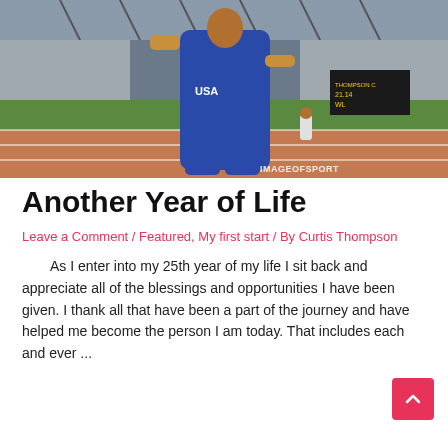[Figure (photo): Athlete in blue USA uniform throwing a discus or shot put at a large stadium track and field event. IMAGEOFSPORT watermark visible in bottom right.]
Another Year of Life
Leave a Comment / Featured, My first start / By Curtis Thompson
As I enter into my 25th year of my life I sit back and appreciate all of the blessings and opportunities I have been given. I thank all that have been a part of the journey and have helped me become the person I am today. That includes each and ever ...